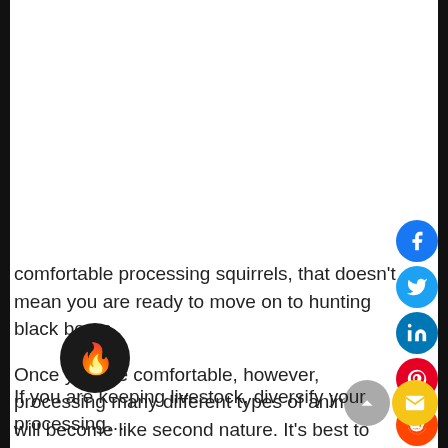comfortable processing squirrels, that doesn't mean you are ready to move on to hunting black bears.
Once you are comfortable, however, processing many different types of animals will become like second nature. It's best to start small and move up on the food c…
If you are keeping livestock, diversify your processing…